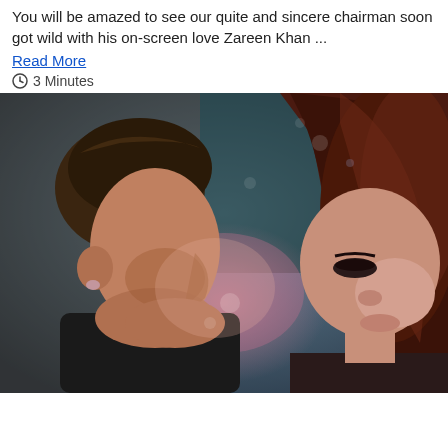You will be amazed to see our quite and sincere chairman soon got wild with his on-screen love Zareen Khan ...
Read More
3 Minutes
[Figure (photo): Close-up photo of a man and a woman in an intimate scene, man on left with dark hair facing right, woman on right with long dark reddish-brown hair, soft blurred background with colorful lights]